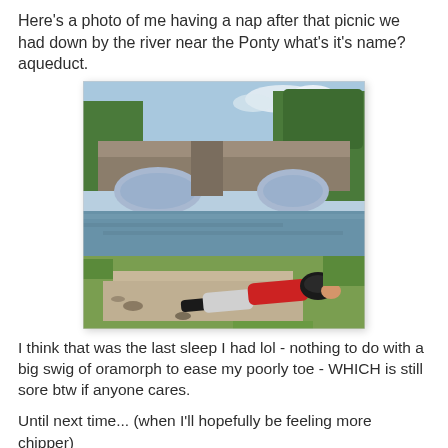Here's a photo of me having a nap after that picnic we had down by the river near the Ponty what's it's name? aqueduct.
[Figure (photo): A person lying on the grassy/rocky bank of a river, wearing a red jacket and grey shorts with a cycling helmet, with a stone arched bridge and trees visible in the background.]
I think that was the last sleep I had lol - nothing to do with a big swig of oramorph to ease my poorly toe - WHICH is still sore btw if anyone cares.
Until next time... (when I'll hopefully be feeling more chipper)